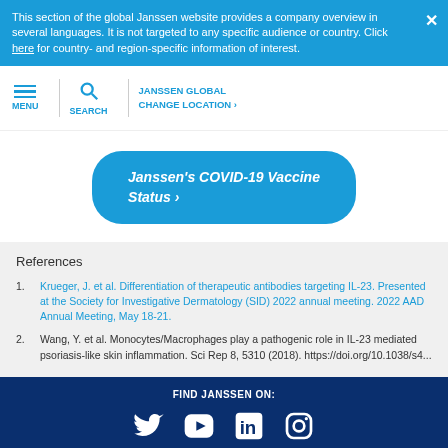This section of the global Janssen website provides a company overview in several languages. It is not targeted to any specific audience or country. Click here for country- and region-specific information of interest.
[Figure (screenshot): Janssen website navigation bar with hamburger menu, search icon, and JANSSEN GLOBAL / CHANGE LOCATION links]
[Figure (other): Blue rounded button: Janssen's COVID-19 Vaccine Status »]
References
1. Krueger, J. et al. Differentiation of therapeutic antibodies targeting IL-23. Presented at the Society for Investigative Dermatology (SID) 2022 annual meeting. 2022 AAD Annual Meeting, May 18-21.
2. Wang, Y. et al. Monocytes/Macrophages play a pathogenic role in IL-23 mediated psoriasis-like skin inflammation. Sci Rep 8, 5310 (2018). https://doi.org/10.1038/s4...
FIND JANSSEN ON: [Twitter] [YouTube] [LinkedIn] [Instagram]